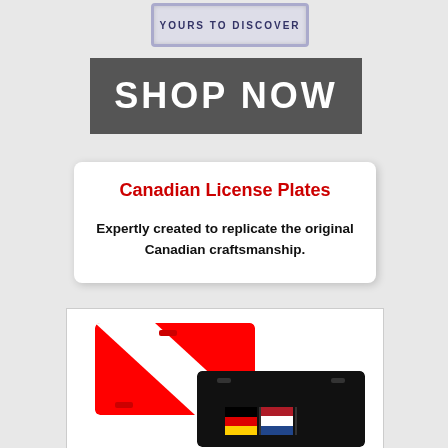[Figure (illustration): Ontario-style license plate with text YOURS TO DISCOVER]
[Figure (illustration): Dark gray SHOP NOW button/banner]
Canadian License Plates
Expertly created to replicate the original Canadian craftsmanship.
[Figure (illustration): Red scuba diver down flag license plate overlapping a black license plate with flag icons]